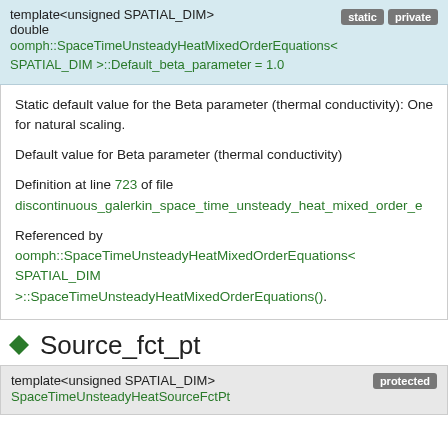template<unsigned SPATIAL_DIM>
double oomph::SpaceTimeUnsteadyHeatMixedOrderEquations< SPATIAL_DIM >::Default_beta_parameter = 1.0
static private
Static default value for the Beta parameter (thermal conductivity): One for natural scaling.

Default value for Beta parameter (thermal conductivity)

Definition at line 723 of file discontinuous_galerkin_space_time_unsteady_heat_mixed_order_e

Referenced by oomph::SpaceTimeUnsteadyHeatMixedOrderEquations< SPATIAL_DIM >::SpaceTimeUnsteadyHeatMixedOrderEquations().
◆ Source_fct_pt
template<unsigned SPATIAL_DIM>
SpaceTimeUnsteadyHeatSourceFctPt
protected